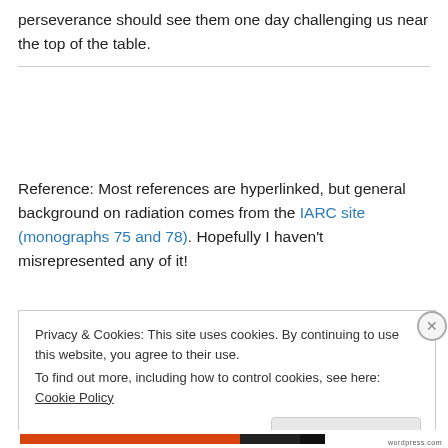perseverance should see them one day challenging us near the top of the table.
Reference: Most references are hyperlinked, but general background on radiation comes from the IARC site (monographs 75 and 78). Hopefully I haven't misrepresented any of it!
Privacy & Cookies: This site uses cookies. By continuing to use this website, you agree to their use.
To find out more, including how to control cookies, see here: Cookie Policy
Close and accept